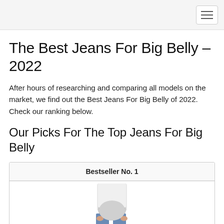The Best Jeans For Big Belly – 2022
After hours of researching and comparing all models on the market, we find out the Best Jeans For Big Belly of 2022. Check our ranking below.
Our Picks For The Top Jeans For Big Belly
| Bestseller No. 1 |
| --- |
| [product image] |
[Figure (photo): Person wearing jeans with a big belly visible, hands in pockets, white shirt]